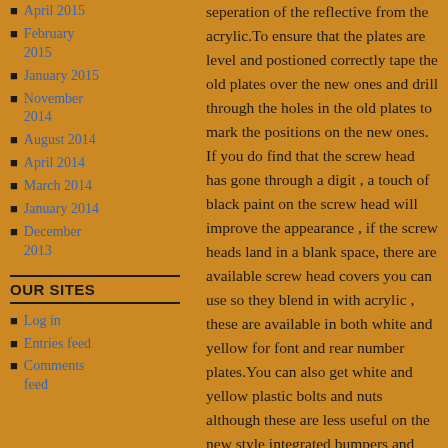April 2015
February 2015
January 2015
November 2014
August 2014
April 2014
March 2014
January 2014
December 2013
OUR SITES
Log in
Entries feed
Comments feed
seperation of the reflective from the acrylic.To ensure that the plates are level and postioned correctly tape the old plates over the new ones and drill through the holes in the old plates to mark the positions on the new ones. If you do find that the screw head has gone through a digit , a touch of black paint on the screw head will improve the appearance , if the screw heads land in a blank space, there are available screw head covers you can use so they blend in with acrylic , these are available in both white and yellow for font and rear number plates.You can also get white and yellow plastic bolts and nuts although these are less useful on the new style integrated bumpers and